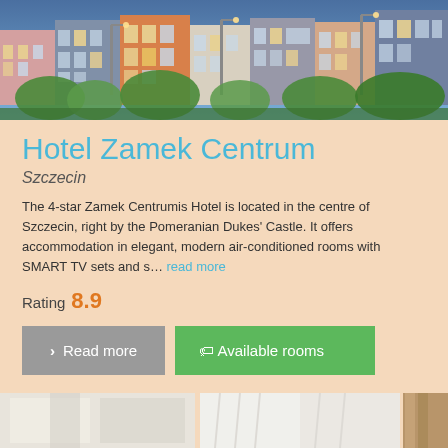[Figure (photo): Exterior photo of colorful European-style hotel buildings with street lamps and green trees at dusk]
Hotel Zamek Centrum
Szczecin
The 4-star Zamek Centrumis Hotel is located in the centre of Szczecin, right by the Pomeranian Dukes' Castle. It offers accommodation in elegant, modern air-conditioned rooms with SMART TV sets and s... read more
Rating 8.9
Read more
Available rooms
[Figure (photo): Bottom strip showing interior hotel room photos]